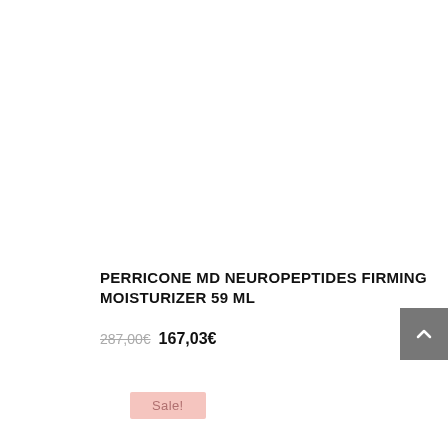PERRICONE MD NEUROPEPTIDES FIRMING MOISTURIZER 59 ML
287,00€ 167,03€
Sale!